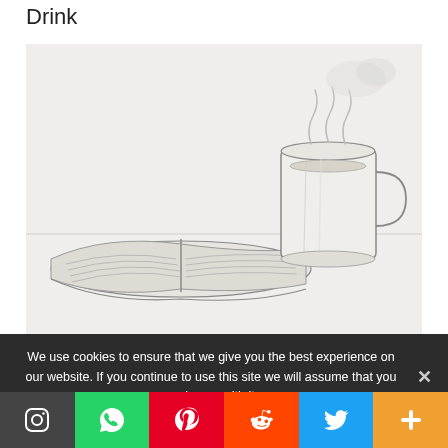Drink
[Figure (illustration): Pencil sketch illustration of an open book with a steaming mug/cup sitting on top of it, drawn in a detailed hand-sketched style on a light background.]
We use cookies to ensure that we give you the best experience on our website. If you continue to use this site we will assume that you are happy with it.